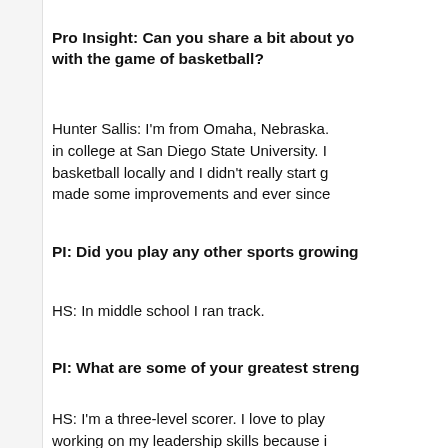Pro Insight: Can you share a bit about your journey with the game of basketball?
Hunter Sallis: I'm from Omaha, Nebraska. I played in college at San Diego State University. I played basketball locally and I didn't really start g... made some improvements and ever since...
PI: Did you play any other sports growing...
HS: In middle school I ran track.
PI: What are some of your greatest streng...
HS: I'm a three-level scorer. I love to play... working on my leadership skills because i...